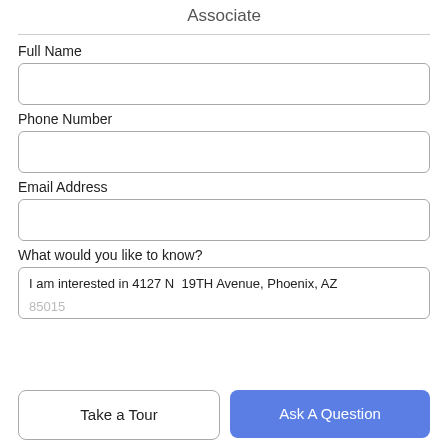Associate
Full Name
Phone Number
Email Address
What would you like to know?
I am interested in 4127 N  19TH Avenue, Phoenix, AZ 85015
Take a Tour
Ask A Question